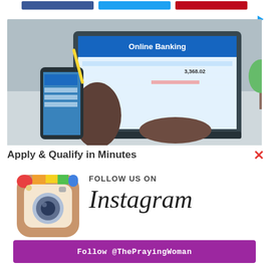[Figure (other): Three social media share buttons (Facebook blue, Twitter blue, Pinterest red) across the top]
[Figure (photo): Person holding a smartphone with a banking app while typing on a laptop showing an Online Banking screen]
Apply & Qualify in Minutes
[Figure (logo): Instagram camera logo icon (colorful rainbow stripe on brown rounded square background)]
FOLLOW US ON Instagram
Follow @ThePrayingWoman